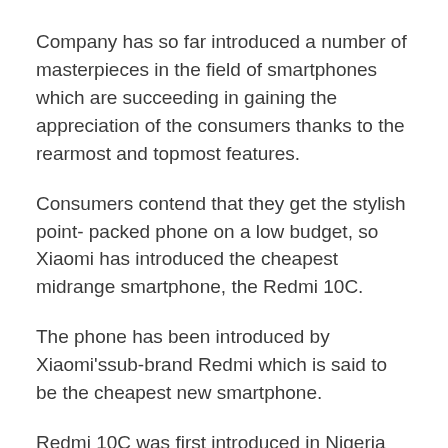Company has so far introduced a number of masterpieces in the field of smartphones which are succeeding in gaining the appreciation of the consumers thanks to the rearmost and topmost features.
Consumers contend that they get the stylish point- packed phone on a low budget, so Xiaomi has introduced the cheapest midrange smartphone, the Redmi 10C.
The phone has been introduced by Xiaomi'ssub-brand Redmi which is said to be the cheapest new smartphone.
Redmi 10C was first introduced in Nigeria and is available in three beautiful colors